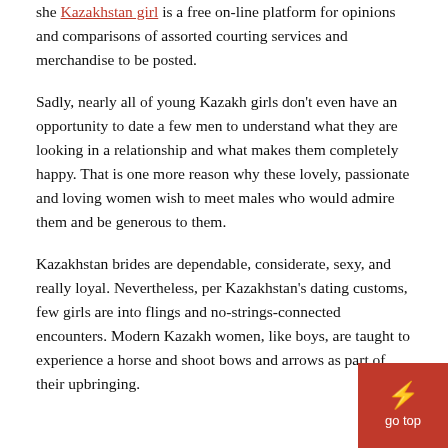she Kazakhstan girl is a free on-line platform for opinions and comparisons of assorted courting services and merchandise to be posted.
Sadly, nearly all of young Kazakh girls don't even have an opportunity to date a few men to understand what they are looking in a relationship and what makes them completely happy. That is one more reason why these lovely, passionate and loving women wish to meet males who would admire them and be generous to them.
Kazakhstan brides are dependable, considerate, sexy, and really loyal. Nevertheless, per Kazakhstan's dating customs, few girls are into flings and no-strings-connected encounters. Modern Kazakh women, like boys, are taught to experience a horse and shoot bows and arrows as part of their upbringing.